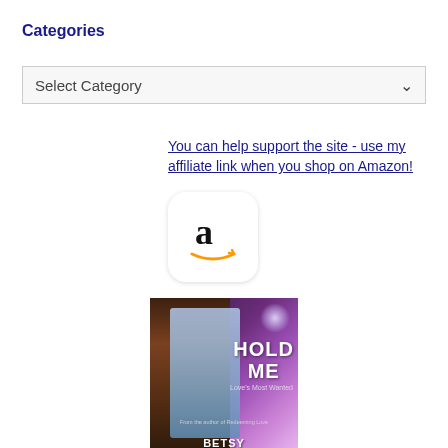Categories
Select Category
You can help support the site - use my affiliate link when you shop on Amazon!
[Figure (logo): Amazon logo icon with lowercase 'a' and smile arrow on white rounded square background]
[Figure (photo): Book cover: 'Hold Me - Love's Most Wanted' by Betsy Horvath, featuring a man in a blue jacket against a purple night sky with a moon]